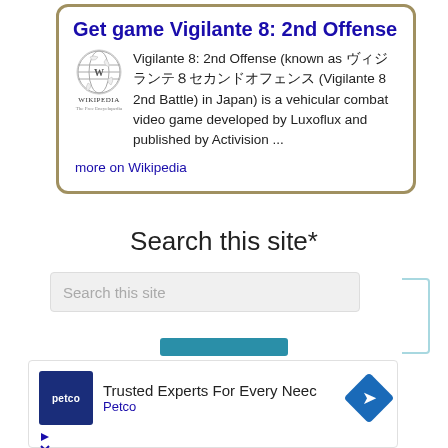Get game Vigilante 8: 2nd Offense
Vigilante 8: 2nd Offense (known as ヴィジランテ8セカンドオフェンス (Vigilante 8 2nd Battle) in Japan) is a vehicular combat video game developed by Luxoflux and published by Activision ...
more on Wikipedia
Search this site*
[Figure (screenshot): Search input box with placeholder text 'Search this site']
[Figure (screenshot): Advertisement: Petco - Trusted Experts For Every Need]